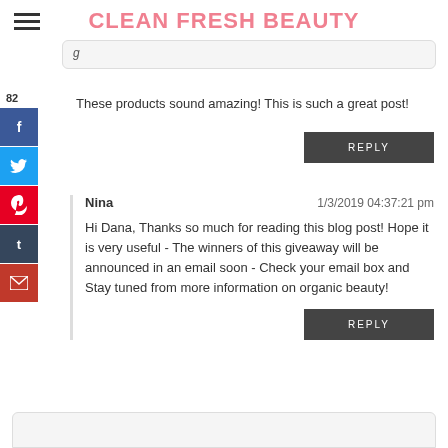CLEAN FRESH BEAUTY
These products sound amazing! This is such a great post!
REPLY
Nina   1/3/2019 04:37:21 pm
Hi Dana, Thanks so much for reading this blog post! Hope it is very useful - The winners of this giveaway will be announced in an email soon - Check your email box and Stay tuned from more information on organic beauty!
REPLY